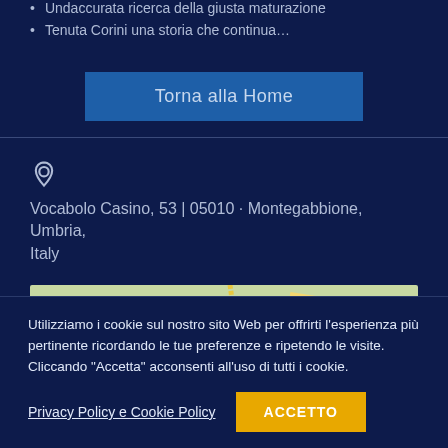Undaccurata ricerca della giusta maturazione
Tenuta Corini una storia che continua…
Torna alla Home
Vocabolo Casino, 53 | 05010 · Montegabbione, Umbria, Italy
[Figure (map): Map showing area around Montegabbione, Umbria, Italy with labels for Cetona, Città della Pieve, and Piegaro]
Utilizziamo i cookie sul nostro sito Web per offrirti l'esperienza più pertinente ricordando le tue preferenze e ripetendo le visite. Cliccando "Accetta" acconsenti all'uso di tutti i cookie.
Privacy Policy e Cookie Policy
ACCETTO